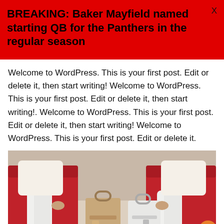BREAKING: Baker Mayfield named starting QB for the Panthers in the regular season
Welcome to WordPress. This is your first post. Edit or delete it, then start writing! Welcome to WordPress. This is your first post. Edit or delete it, then start writing!. Welcome to WordPress. This is your first post. Edit or delete it, then start writing! Welcome to WordPress. This is your first post. Edit or delete it.
[Figure (photo): Two women seated on red chairs with handbags on the floor between them, wearing white pants and heels.]
These women want to be better informed, smart consumers